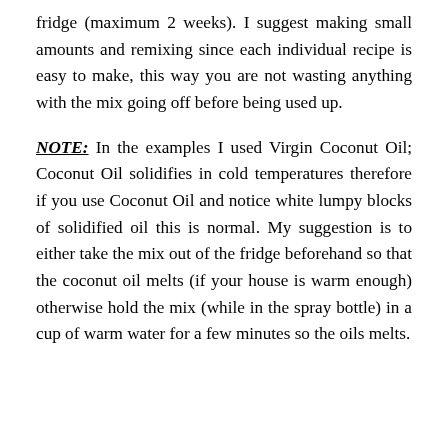fridge (maximum 2 weeks). I suggest making small amounts and remixing since each individual recipe is easy to make, this way you are not wasting anything with the mix going off before being used up.
NOTE: In the examples I used Virgin Coconut Oil; Coconut Oil solidifies in cold temperatures therefore if you use Coconut Oil and notice white lumpy blocks of solidified oil this is normal. My suggestion is to either take the mix out of the fridge beforehand so that the coconut oil melts (if your house is warm enough) otherwise hold the mix (while in the spray bottle) in a cup of warm water for a few minutes so the oils melts.